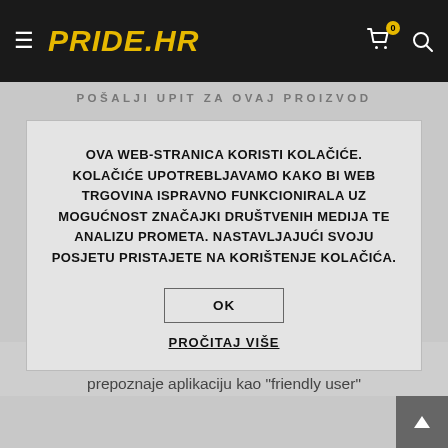PRIDE.HR
POŠALJI UPIT ZA OVAJ PROIZVOD
OVA WEB-STRANICA KORISTI KOLAČIĆE. KOLAČIĆE UPOTREBLJAVAMO KAKO BI WEB TRGOVINA ISPRAVNO FUNKCIONIRALA UZ MOGUĆNOST ZNAČAJKI DRUŠTVENIH MEDIJA TE ANALIZU PROMETA. NASTAVLJAJUĆI SVOJU POSJETU PRISTAJETE NA KORIŠTENJE KOLAČIĆA.
OK
PROČITAJ VIŠE
natjecatelji iz cijelog svijeta. Karate zajednica prepoznaje aplikaciju kao "friendly user" aplikaciju po mjeri karataša.